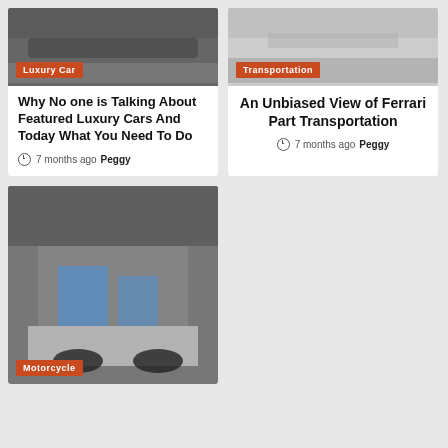[Figure (photo): Luxury car photo with orange 'Luxury Car' badge]
Why No one is Talking About Featured Luxury Cars And Today What You Need To Do
7 months ago  Peggy
[Figure (photo): Transportation photo with orange 'Transportation' badge]
An Unbiased View of Ferrari Part Transportation
7 months ago  Peggy
[Figure (photo): Motorcycle exhibition photo with orange 'Motorcycle' badge]